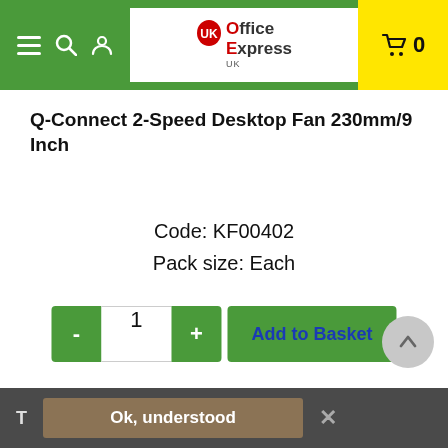Office Express UK — navigation header with menu, search, user icons, logo, and cart (0)
Q-Connect 2-Speed Desktop Fan 230mm/9 Inch
Code: KF00402
Pack size: Each
[Figure (screenshot): Add to basket row with minus button, quantity input showing 1, plus button, and Add to Basket button]
T  Ok, understood  ×